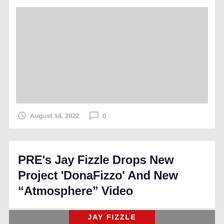[Figure (photo): Gray placeholder image rectangle at top of first card]
August 14, 2022   0
PRE's Jay Fizzle Drops New Project 'DonaFizzo' And New “Atmosphere” Video
[Figure (photo): Partial image at bottom showing Jay Fizzle text in red banner with partial faces/figures visible]